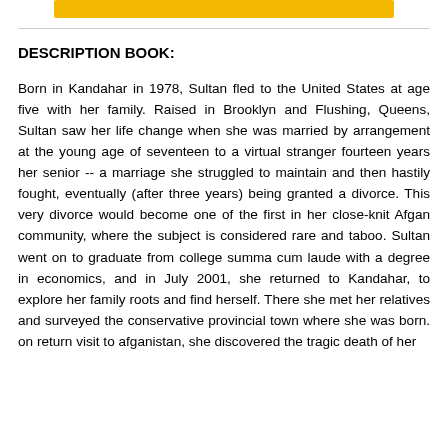[Figure (other): Yellow/gold horizontal bar at top of page]
DESCRIPTION BOOK:
Born in Kandahar in 1978, Sultan fled to the United States at age five with her family. Raised in Brooklyn and Flushing, Queens, Sultan saw her life change when she was married by arrangement at the young age of seventeen to a virtual stranger fourteen years her senior -- a marriage she struggled to maintain and then hastily fought, eventually (after three years) being granted a divorce. This very divorce would become one of the first in her close-knit Afgan community, where the subject is considered rare and taboo. Sultan went on to graduate from college summa cum laude with a degree in economics, and in July 2001, she returned to Kandahar, to explore her family roots and find herself. There she met her relatives and surveyed the conservative provincial town where she was born. on return visit to afganistan, she discovered the tragic death of her